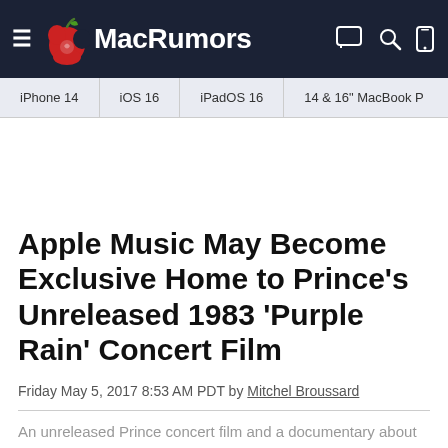MacRumors
iPhone 14
iOS 16
iPadOS 16
14 & 16" MacBook P
Apple Music May Become Exclusive Home to Prince's Unreleased 1983 'Purple Rain' Concert Film
Friday May 5, 2017 8:53 AM PDT by Mitchel Broussard
An unreleased Prince concert film and a documentary about the